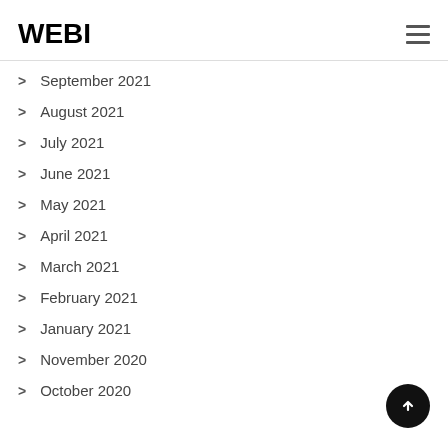WEBI
September 2021
August 2021
July 2021
June 2021
May 2021
April 2021
March 2021
February 2021
January 2021
November 2020
October 2020